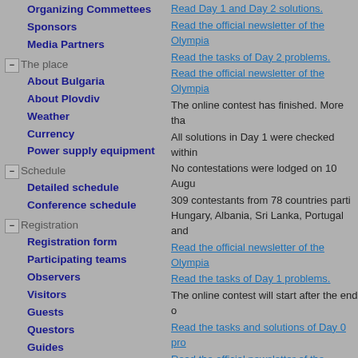Organizing Commettees
Sponsors
Media Partners
The place
About Bulgaria
About Plovdiv
Weather
Currency
Power supply equipment
Schedule
Detailed schedule
Conference schedule
Registration
Registration form
Participating teams
Observers
Visitors
Guests
Questors
Guides
Arrivals and departures
Accommodation
Fees
Visas
Competition
Read Day 1 and Day 2 solutions.
Read the official newsletter of the Olympia
Read the tasks of Day 2 problems.
Read the official newsletter of the Olympia
The online contest has finished. More tha
All solutions in Day 1 were checked within
No contestations were lodged on 10 Augu
309 contestants from 78 countries parti Hungary, Albania, Sri Lanka, Portugal and
Read the official newsletter of the Olympia
Read the tasks of Day 1 problems.
The online contest will start after the end o
Read the tasks and solutions of Day 0 pro
Read the official newsletter of the Olympia
Read the official newsletter of the Olympia
Read the official newsletter of the Olympia
How to see the workplaces for the trainin
How to try out the contest system with the